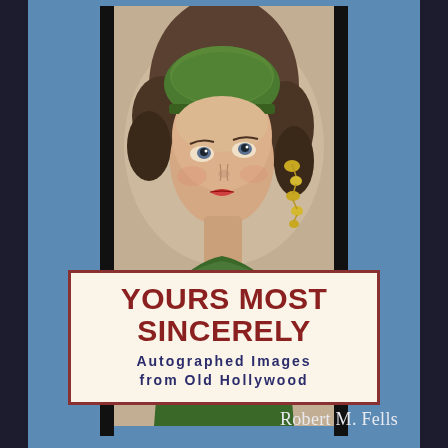[Figure (photo): Colorized vintage glamour photograph of a young female Hollywood actress from the silent film era, wearing a green beaded headband/cap and green dress with gold jewelry. She has curly brown hair and is looking upward slightly. A cursive autograph inscription 'Yours most sincerely, Vilma Banky' appears across the lower portion of the photo. The photo has black film-strip-style borders on left and right sides.]
YOURS MOST SINCERELY
Autographed Images from Old Hollywood
Robert M. Fells